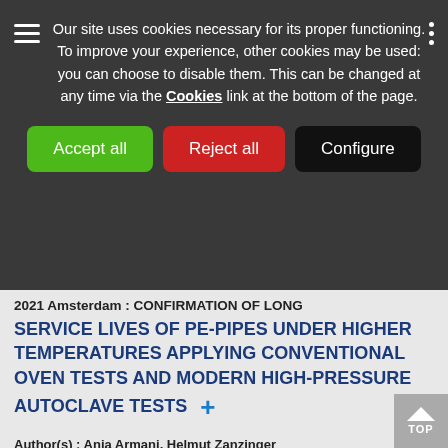Our site uses cookies necessary for its proper functioning. To improve your experience, other cookies may be used: you can choose to disable them. This can be changed at any time via the Cookies link at the bottom of the page.
Accept all | Reject all | Configure
2021 Amsterdam : CONFIRMATION OF LONG SERVICE LIVES OF PE-PIPES UNDER HIGHER TEMPERATURES APPLYING CONVENTIONAL OVEN TESTS AND MODERN HIGH-PRESSURE AUTOCLAVE TESTS
Author(s) : Anja Armani, Helmut Zanzinger
PE-pipes are used in applications at temperatures higher than 40°C and long service lives like drainage pipes in landfill basal lining systems, drainage pipes in tunnels with high cover